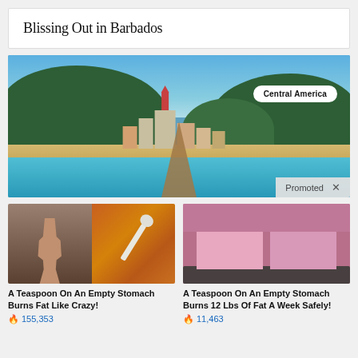Blissing Out in Barbados
[Figure (photo): Panoramic photo of a Caribbean coastal town with a church, colorful buildings, beach, turquoise water, and green hills. A wooden pier extends into the water. Badge reading 'Central America' overlaid top-right. 'Promoted X' label at bottom-right.]
[Figure (photo): Advertisement thumbnail collage: left half shows a muscular person, right half shows a spoon with spice/powder on orange granules background]
A Teaspoon On An Empty Stomach Burns Fat Like Crazy!
🔥 155,353
[Figure (photo): Advertisement thumbnail showing two women in pink clothing sitting on a dark sofa]
A Teaspoon On An Empty Stomach Burns 12 Lbs Of Fat A Week Safely!
🔥 11,463